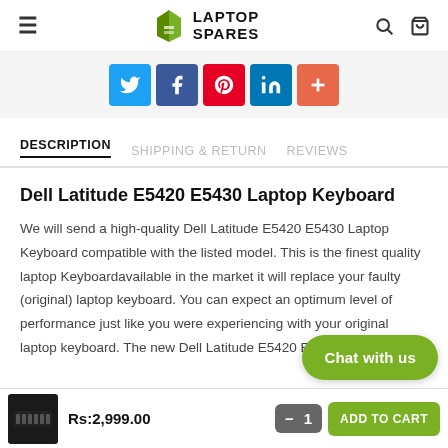≡  LAPTOP SPARES  🔍  🛒
[Figure (infographic): Social share buttons: Twitter (blue), Facebook (dark blue), Pinterest (red), LinkedIn (blue), Plus/More (orange-red)]
DESCRIPTION   SHIPPING & RETURN   REVIEWS
Dell Latitude E5420 E5430 Laptop Keyboard
We will send a high-quality Dell Latitude E5420 E5430 Laptop Keyboard compatible with the listed model. This is the finest quality laptop Keyboardavailable in the market it will replace your faulty (original) laptop keyboard. You can expect an optimum level of performance just like you were experiencing with your original laptop keyboard. The new Dell Latitude E5420 E5430 L... will meet all the specifications so you can experi...
Chat with us
Rs:2,999.00   — 1   ADD TO CART